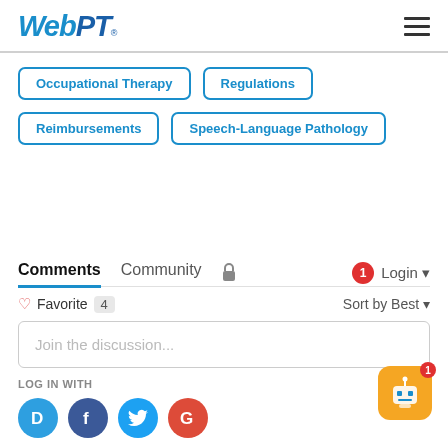[Figure (logo): WebPT logo in blue italic text with trademark symbol]
Occupational Therapy
Regulations
Reimbursements
Speech-Language Pathology
Comments
Community
Favorite 4
Sort by Best
Join the discussion...
LOG IN WITH